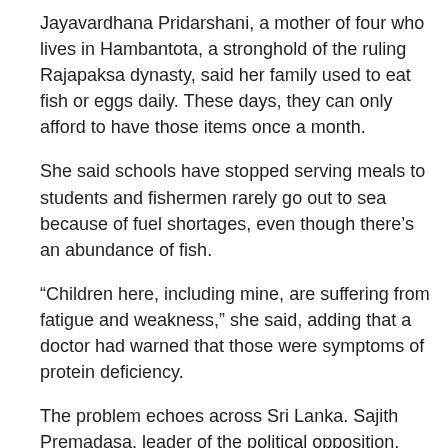Jayavardhana Pridarshani, a mother of four who lives in Hambantota, a stronghold of the ruling Rajapaksa dynasty, said her family used to eat fish or eggs daily. These days, they can only afford to have those items once a month.
She said schools have stopped serving meals to students and fishermen rarely go out to sea because of fuel shortages, even though there’s an abundance of fish.
“Children here, including mine, are suffering from fatigue and weakness,” she said, adding that a doctor had warned that those were symptoms of protein deficiency.
The problem echoes across Sri Lanka. Sajith Premadasa, leader of the political opposition, said an estimated 15% of children in the country are “wasting.” That term refers to underweight children whose immune systems are weak, leaving them vulnerable to developmental delays, disease and even death. At the Lady Ridgeway hospital in Colombo, the country’s largest for children, about 20% of patients suffer from malnutrition due to the ongoing crisis, local media reported. Poor nutrition carries a significant economic burden in terms of higher health care costs and reduced